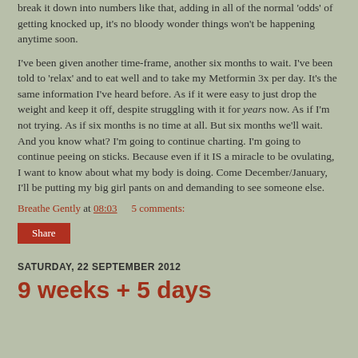break it down into numbers like that, adding in all of the normal 'odds' of getting knocked up, it's no bloody wonder things won't be happening anytime soon.
I've been given another time-frame, another six months to wait. I've been told to 'relax' and to eat well and to take my Metformin 3x per day. It's the same information I've heard before. As if it were easy to just drop the weight and keep it off, despite struggling with it for years now. As if I'm not trying. As if six months is no time at all. But six months we'll wait. And you know what? I'm going to continue charting. I'm going to continue peeing on sticks. Because even if it IS a miracle to be ovulating, I want to know about what my body is doing. Come December/January, I'll be putting my big girl pants on and demanding to see someone else.
Breathe Gently at 08:03   5 comments:
Share
SATURDAY, 22 SEPTEMBER 2012
9 weeks + 5 days